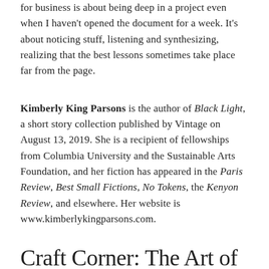for business is about being deep in a project even when I haven't opened the document for a week. It's about noticing stuff, listening and synthesizing, realizing that the best lessons sometimes take place far from the page.
Kimberly King Parsons is the author of Black Light, a short story collection published by Vintage on August 13, 2019. She is a recipient of fellowships from Columbia University and the Sustainable Arts Foundation, and her fiction has appeared in the Paris Review, Best Small Fictions, No Tokens, the Kenyon Review, and elsewhere. Her website is www.kimberlykingparsons.com.
Craft Corner: The Art of